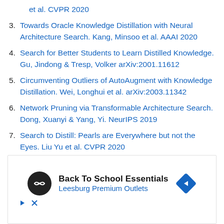et al. CVPR 2020
3. Towards Oracle Knowledge Distillation with Neural Architecture Search. Kang, Minsoo et al. AAAI 2020
4. Search for Better Students to Learn Distilled Knowledge. Gu, Jindong & Tresp, Volker arXiv:2001.11612
5. Circumventing Outliers of AutoAugment with Knowledge Distillation. Wei, Longhui et al. arXiv:2003.11342
6. Network Pruning via Transformable Architecture Search. Dong, Xuanyi & Yang, Yi. NeurIPS 2019
7. Search to Distill: Pearls are Everywhere but not the Eyes. Liu Yu et al. CVPR 2020
[Figure (other): Advertisement banner: Back To School Essentials, Leesburg Premium Outlets, with logo circle and diamond navigation icon, play and close controls]